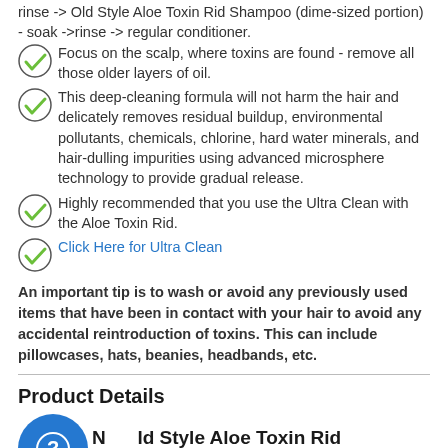rinse -> Old Style Aloe Toxin Rid Shampoo (dime-sized portion) - soak ->rinse -> regular conditioner.
Focus on the scalp, where toxins are found - remove all those older layers of oil.
This deep-cleaning formula will not harm the hair and delicately removes residual buildup, environmental pollutants, chemicals, chlorine, hard water minerals, and hair-dulling impurities using advanced microsphere technology to provide gradual release.
Highly recommended that you use the Ultra Clean with the Aloe Toxin Rid.
Click Here for Ultra Clean
An important tip is to wash or avoid any previously used items that have been in contact with your hair to avoid any accidental reintroduction of toxins. This can include pillowcases, hats, beanies, headbands, etc.
Product Details
New Old Style Aloe Toxin Rid Shampoo Details